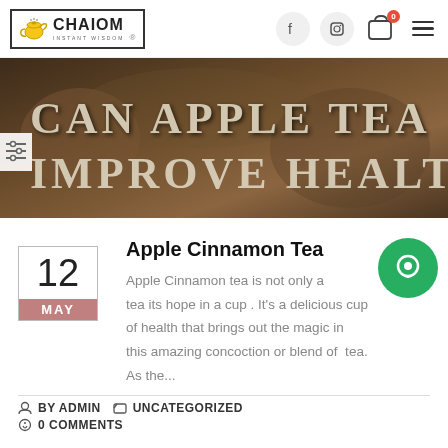[Figure (logo): Chaiom brand logo with teapot icon inside a bordered box, text CHAIOM with tagline INSTANT WISDOM]
[Figure (photo): Hero banner image showing text CAN APPLE TEA IMPROVE HEALTH? overlaid on a food/tea background]
Apple Cinnamon Tea
Apple Cinnamon tea is not only a tea its hope in a cup . It's a delicious cup of health that brings out the magic in this amazing concoction or blend of tea. As the...
BY ADMIN   UNCATEGORIZED